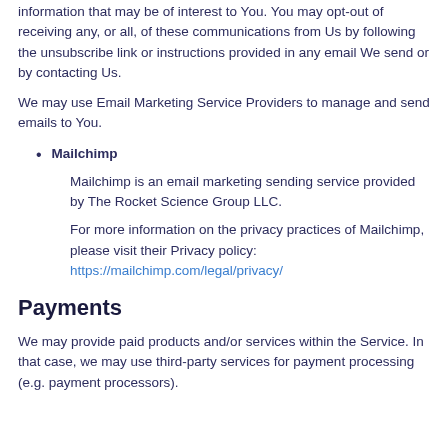information that may be of interest to You. You may opt-out of receiving any, or all, of these communications from Us by following the unsubscribe link or instructions provided in any email We send or by contacting Us.
We may use Email Marketing Service Providers to manage and send emails to You.
Mailchimp
Mailchimp is an email marketing sending service provided by The Rocket Science Group LLC.
For more information on the privacy practices of Mailchimp, please visit their Privacy policy: https://mailchimp.com/legal/privacy/
Payments
We may provide paid products and/or services within the Service. In that case, we may use third-party services for payment processing (e.g. payment processors).